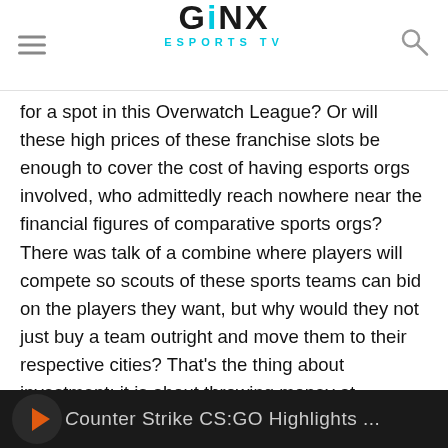GINX ESPORTS TV
for a spot in this Overwatch League? Or will these high prices of these franchise slots be enough to cover the cost of having esports orgs involved, who admittedly reach nowhere near the financial figures of comparative sports orgs? There was talk of a combine where players will compete so scouts of these sports teams can bid on the players they want, but why would they not just buy a team outright and move them to their respective cities? That’s the thing about investment: it is about throwing money at something with the //belief// that it’ll earn a return at some point down the line. Esports is a growing market, that's a safer bet than so many other investments, and sports teams no that.
[Figure (screenshot): Dark background thumbnail image with an orange arrow/logo icon on the left and partially visible text on the right, suggesting a video thumbnail or article preview.]